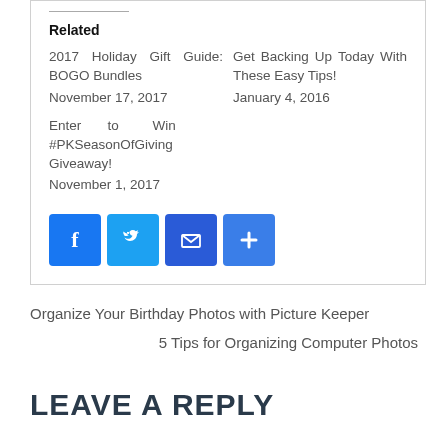Related
2017 Holiday Gift Guide: BOGO Bundles
November 17, 2017
Get Backing Up Today With These Easy Tips!
January 4, 2016
Enter to Win #PKSeasonOfGiving Giveaway!
November 1, 2017
[Figure (infographic): Social share buttons: Facebook (blue), Twitter (light blue), Email (dark blue), Plus/More (blue)]
Organize Your Birthday Photos with Picture Keeper
5 Tips for Organizing Computer Photos
LEAVE A REPLY